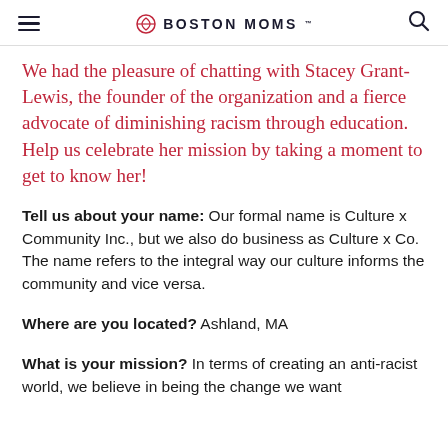BOSTON MOMS
We had the pleasure of chatting with Stacey Grant-Lewis, the founder of the organization and a fierce advocate of diminishing racism through education. Help us celebrate her mission by taking a moment to get to know her!
Tell us about your name: Our formal name is Culture x Community Inc., but we also do business as Culture x Co. The name refers to the integral way our culture informs the community and vice versa.
Where are you located? Ashland, MA
What is your mission? In terms of creating an anti-racist world, we believe in being the change we want